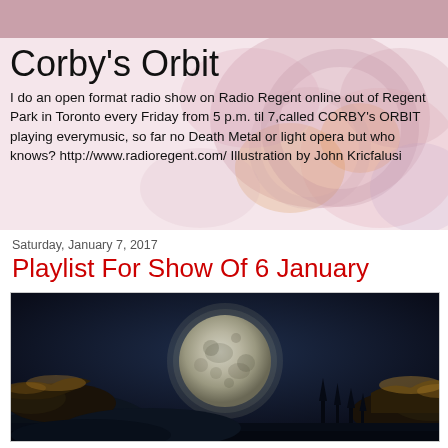Corby's Orbit
I do an open format radio show on Radio Regent online out of Regent Park in Toronto every Friday from 5 p.m. til 7,called CORBY's ORBIT playing everymusic, so far no Death Metal or light opera but who knows? http://www.radioregent.com/ Illustration by John Kricfalusi
Saturday, January 7, 2017
Playlist For Show Of 6 January
[Figure (photo): Moon visible through dramatic cloud-covered night sky, large full moon in center with dark blue-black sky and golden-lit clouds surrounding it]